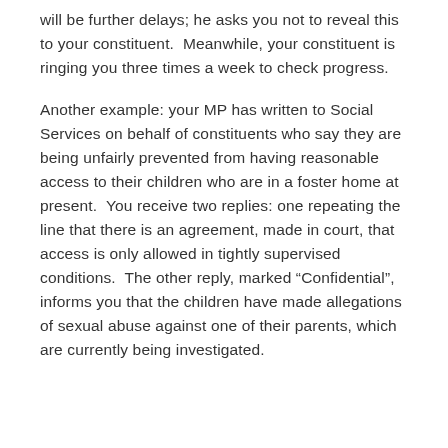will be further delays; he asks you not to reveal this to your constituent.  Meanwhile, your constituent is ringing you three times a week to check progress.
Another example: your MP has written to Social Services on behalf of constituents who say they are being unfairly prevented from having reasonable access to their children who are in a foster home at present.  You receive two replies: one repeating the line that there is an agreement, made in court, that access is only allowed in tightly supervised conditions.  The other reply, marked “Confidential”, informs you that the children have made allegations of sexual abuse against one of their parents, which are currently being investigated.